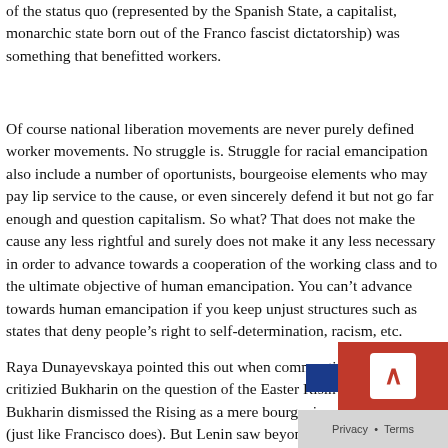of the status quo (represented by the Spanish State, a capitalist, monarchic state born out of the Franco fascist dictatorship) was something that benefitted workers.
Of course national liberation movements are never purely defined worker movements. No struggle is. Struggle for racial emancipation also include a number of oportunists, bourgeoise elements who may pay lip service to the cause, or even sincerely defend it but not go far enough and question capitalism. So what? That does not make the cause any less rightful and surely does not make it any less necessary in order to advance towards a cooperation of the working class and to the ultimate objective of human emancipation. You can't advance towards human emancipation if you keep unjust structures such as states that deny people's right to self-determination, racism, etc.
Raya Dunayevskaya pointed this out when commenting how Lenin critizied Bukharin on the question of the Easter Rising. Bukharin dismissed the Rising as a mere bourgeoise rebellion (just like Francisco does). But Lenin saw beyond that and made it